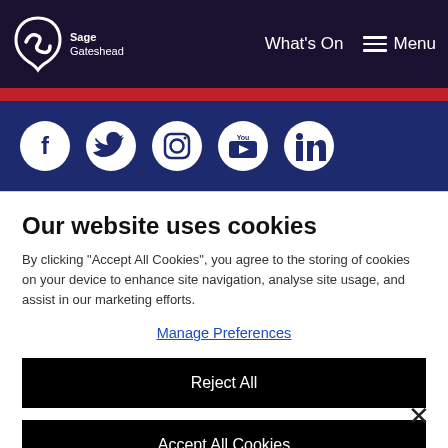Sage Gateshead | What's On | Menu
[Figure (infographic): Social media icons row: Facebook, Twitter, Instagram, YouTube, LinkedIn — white icons on dark navy background]
Our website uses cookies
By clicking "Accept All Cookies", you agree to the storing of cookies on your device to enhance site navigation, analyse site usage, and assist in our marketing efforts.
Manage Preferences
Reject All
Accept All Cookies